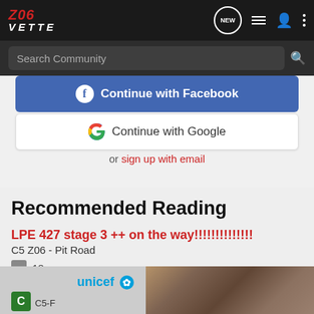Z06 VETTE
Search Community
[Figure (screenshot): Continue with Facebook button]
[Figure (screenshot): Continue with Google button]
or sign up with email
Recommended Reading
LPE 427 stage 3 ++ on the way!!!!!!!!!!!!!!
C5 Z06 - Pit Road
18
[Figure (photo): UNICEF advertisement with photo of children]
C5-F